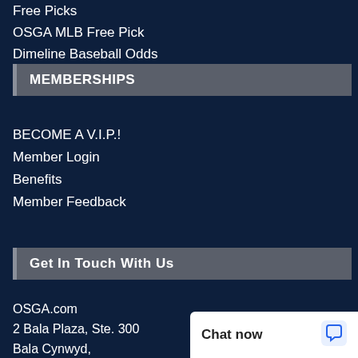Free Picks
OSGA MLB Free Pick
Dimeline Baseball Odds
MEMBERSHIPS
BECOME A V.I.P.!
Member Login
Benefits
Member Feedback
Get In Touch With Us
OSGA.com
2 Bala Plaza, Ste. 300
Bala Cynwyd,
PA. 19004
Phone
Toll Free: (877) 6...
Email: osga@osg...
Chat now